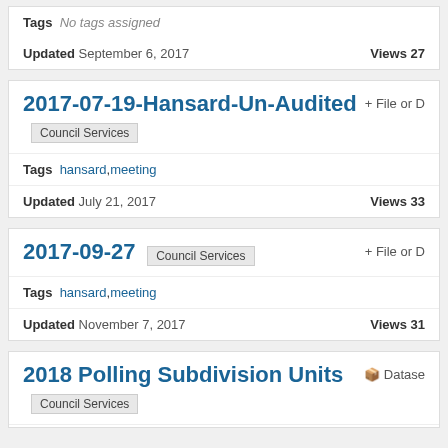Tags  No tags assigned
Updated September 6, 2017   Views 27
2017-07-19-Hansard-Un-Audited
Council Services
+ File or D
Tags  hansard, meeting
Updated July 21, 2017   Views 33
2017-09-27
Council Services
+ File or D
Tags  hansard, meeting
Updated November 7, 2017   Views 31
2018 Polling Subdivision Units
Dataset
Council Services